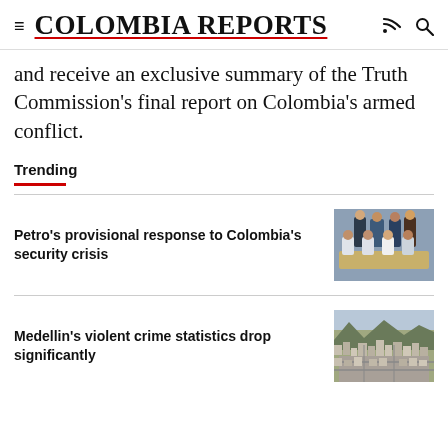COLOMBIA REPORTS
and receive an exclusive summary of the Truth Commission's final report on Colombia's armed conflict.
Trending
Petro's provisional response to Colombia's security crisis
[Figure (photo): Group of officials and security personnel seated at a table]
Medellin's violent crime statistics drop significantly
[Figure (photo): Aerial view of Medellin city]